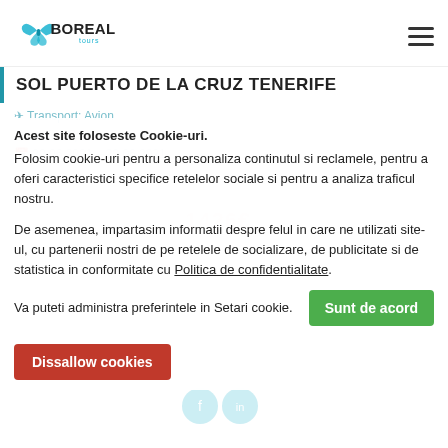Boreal Tours
SOL PUERTO DE LA CRUZ TENERIFE
✈ Transport: Avion
Tenerife - Spania
📅 22.06.2021 – 29.06.2021
Acest site foloseste Cookie-uri.
Folosim cookie-uri pentru a personaliza continutul si reclamele, pentru a oferi caracteristici specifice retelelor sociale si pentru a analiza traficul nostru.
De asemenea, impartasim informatii despre felul in care ne utilizati site-ul, cu partenerii nostri de pe retelele de socializare, de publicitate si de statistica in conformitate cu Politica de confidentialitate.
Va puteti administra preferintele in Setari cookie.
Sunt de acord
Dissallow cookies